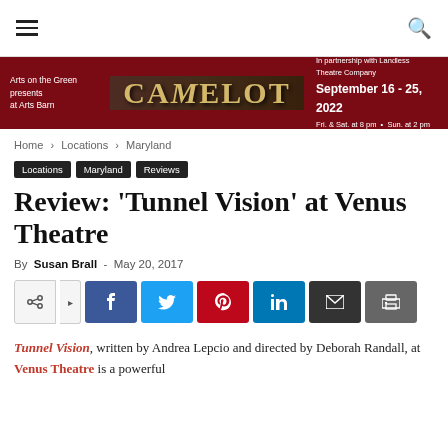Navigation bar with hamburger menu and search icon
[Figure (illustration): Red banner advertisement for 'CAMELOT' by Arts on the Green at Arts Barn, in partnership with Landless Theatre Company, September 16-25, 2022, Fri. & Sat. at 8pm, Sun. at 2pm]
Home › Locations › Maryland
Locations   Maryland   Reviews
Review: 'Tunnel Vision' at Venus Theatre
By Susan Brall - May 20, 2017
[Figure (infographic): Social share buttons: share, Facebook, Twitter, Pinterest, LinkedIn, Email, Print]
Tunnel Vision, written by Andrea Lepcio and directed by Deborah Randall, at Venus Theatre is a powerful